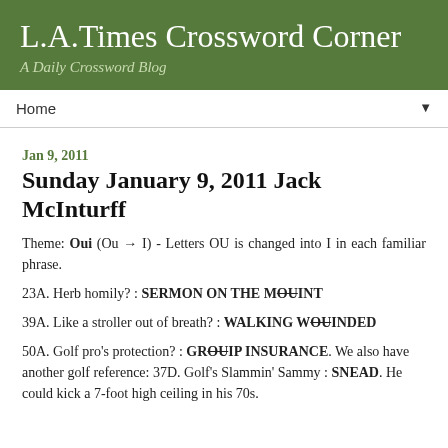L.A.Times Crossword Corner
A Daily Crossword Blog
Home
Jan 9, 2011
Sunday January 9, 2011 Jack McInturff
Theme: Oui (Ou → I) - Letters OU is changed into I in each familiar phrase.
23A. Herb homily? : SERMON ON THE M(OU)INT
39A. Like a stroller out of breath? : WALKING W(OU)INDED
50A. Golf pro's protection? : GR(OU)IP INSURANCE. We also have another golf reference: 37D. Golf's Slammin' Sammy : SNEAD. He could kick a 7-foot high ceiling in his 70s.